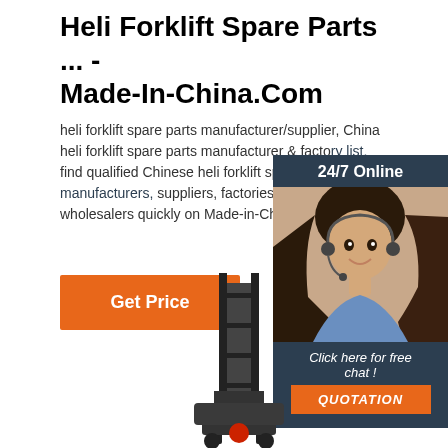Heli Forklift Spare Parts ... - Made-In-China.Com
heli forklift spare parts manufacturer/supplier, China heli forklift spare parts manufacturer & factory list, find qualified Chinese heli forklift spare parts manufacturers, suppliers, factories, exporters, wholesalers quickly on Made-in-China.com.
[Figure (other): Orange 'Get Price' button]
[Figure (other): 24/7 Online chat widget with photo of woman wearing headset, 'Click here for free chat!' text and orange QUOTATION button]
[Figure (other): Forklift equipment image at bottom center of page]